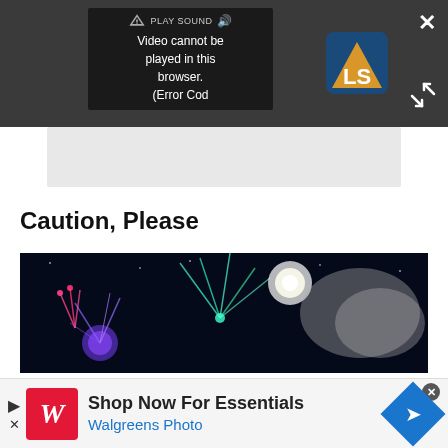[Figure (screenshot): Dark video player overlay showing a video error message: 'Video cannot be played in this browser. (Error Cod' with PLAY SOUND button and speaker icon, and a logo (LS) in bottom right of player. An X close button and expand/fullscreen arrows are visible on the right side of the dark overlay.]
[Figure (photo): Light gray placeholder/content area below the video player.]
Caution, Please
[Figure (photo): Colorful fireworks display against a dark night sky, showing blue, pink, green and white fireworks exploding.]
[Figure (screenshot): Advertisement banner: Walgreens ad with red W logo, text 'Shop Now For Essentials' and 'Walgreens Photo' in blue, with navigation arrow logo on right. Play and close buttons on left.]